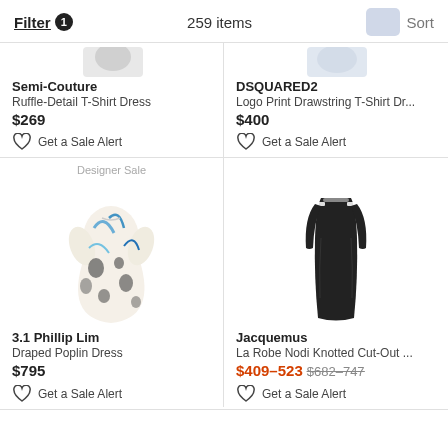Filter 1   259 items   Sort
Semi-Couture
Ruffle-Detail T-Shirt Dress
$269
DSQUARED2
Logo Print Drawstring T-Shirt Dr...
$400
Get a Sale Alert
Get a Sale Alert
Designer Sale
[Figure (photo): 3.1 Phillip Lim Draped Poplin Dress – white dress with blue and black abstract print, three-quarter sleeves, flared skirt]
[Figure (photo): Jacquemus La Robe Nodi Knotted Cut-Out dress – long black form-fitting dress with cut-out and clasp detail at shoulders]
3.1 Phillip Lim
Draped Poplin Dress
$795
Jacquemus
La Robe Nodi Knotted Cut-Out ...
$409–523  $682–747
Get a Sale Alert
Get a Sale Alert